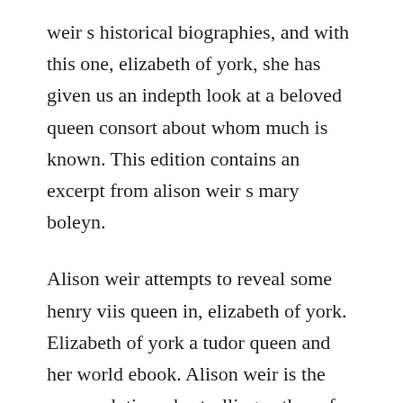weir s historical biographies, and with this one, elizabeth of york, she has given us an indepth look at a beloved queen consort about whom much is known. This edition contains an excerpt from alison weir s mary boleyn.
Alison weir attempts to reveal some henry viis queen in, elizabeth of york. Elizabeth of york a tudor queen and her world ebook. Alison weir is the new york times bestselling author of several historical biographies, includingmary boleyn, the lady in the tower, mistress of the monarchy, henry viii, eleanor